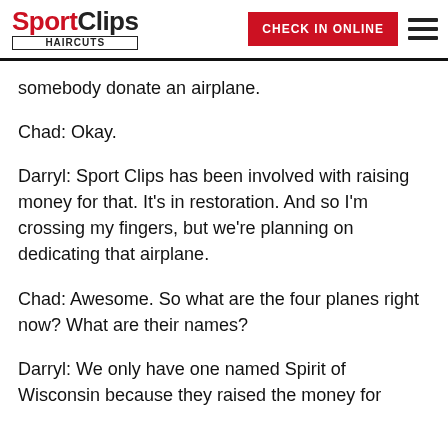Sport Clips Haircuts — CHECK IN ONLINE
somebody donate an airplane.
Chad: Okay.
Darryl: Sport Clips has been involved with raising money for that. It's in restoration. And so I'm crossing my fingers, but we're planning on dedicating that airplane.
Chad: Awesome. So what are the four planes right now? What are their names?
Darryl: We only have one named Spirit of Wisconsin because they raised the money for